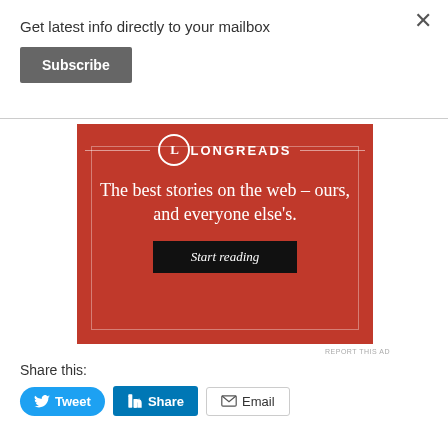Get latest info directly to your mailbox
Subscribe
[Figure (illustration): Longreads advertisement banner. Red background with Longreads logo (L in circle), tagline 'The best stories on the web – ours, and everyone else's.' and a 'Start reading' button.]
REPORT THIS AD
Share this:
Tweet
Share
Email